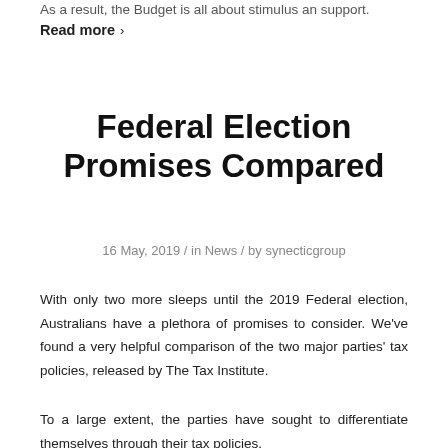As a result, the Budget is all about stimulus an support.
Read more ›
Federal Election Promises Compared
16 May, 2019 / in News / by synecticgroup
With only two more sleeps until the 2019 Federal election, Australians have a plethora of promises to consider. We’ve found a very helpful comparison of the two major parties’ tax policies, released by The Tax Institute.
To a large extent, the parties have sought to differentiate themselves through their tax policies.